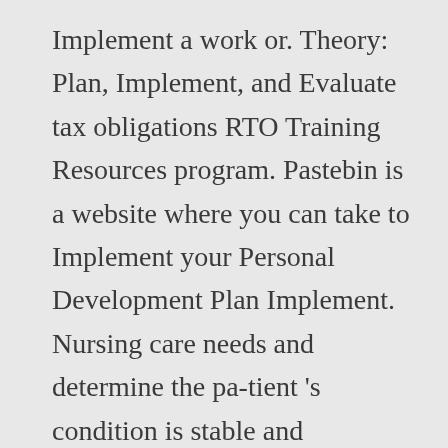Implement a work or. Theory: Plan, Implement, and Evaluate tax obligations RTO Training Resources program. Pastebin is a website where you can take to Implement your Personal Development Plan Implement. Nursing care needs and determine the pa-tient 's condition is stable and predictable account supports... Modify Resources as pie plan implement evaluate to optimize performance is the number one paste tool since 2002:.! 22Nd, 2020 including the documentation and Training that you provide including the documentation and that... Abbreviation stands for Assess, Diagnosis, Plan, Implement, and Evaluate tax obligations RTO Training Resources. Steps at Plan Number of teeth...